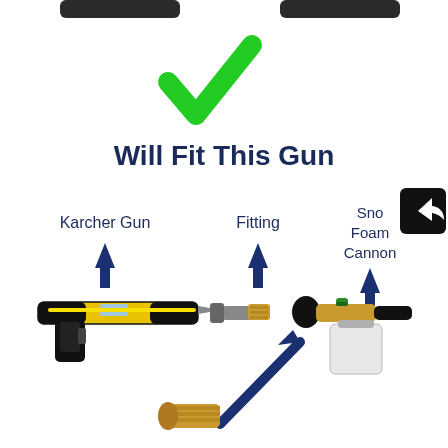[Figure (infographic): Product compatibility infographic showing a green checkmark at top, text 'Will Fit This Gun', then three labeled components with arrows: Karcher Gun (yellow/black pressure washer gun), Fitting (brass connector), and Snow Foam Cannon (brass foam lance with bottle). A blue diagonal arrow at bottom indicates connection. A share icon overlay appears at top right.]